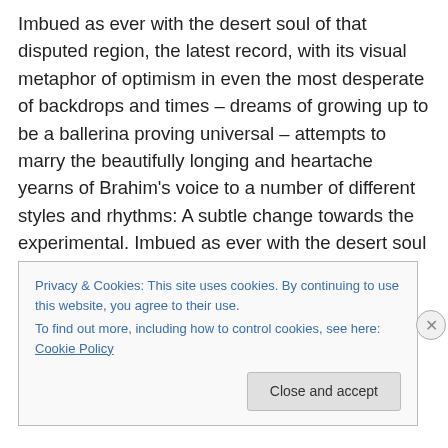Imbued as ever with the desert soul of that disputed region, the latest record, with its visual metaphor of optimism in even the most desperate of backdrops and times – dreams of growing up to be a ballerina proving universal – attempts to marry the beautifully longing and heartache yearns of Brahim's voice to a number of different styles and rhythms: A subtle change towards the experimental. Imbued as ever with the desert soul of that disputed region, the latest record, with its visual metaphor of optimism in even the most desperate of backdrops and times – dreams of growing up to be a ballerina proving
Privacy & Cookies: This site uses cookies. By continuing to use this website, you agree to their use.
To find out more, including how to control cookies, see here: Cookie Policy
Close and accept